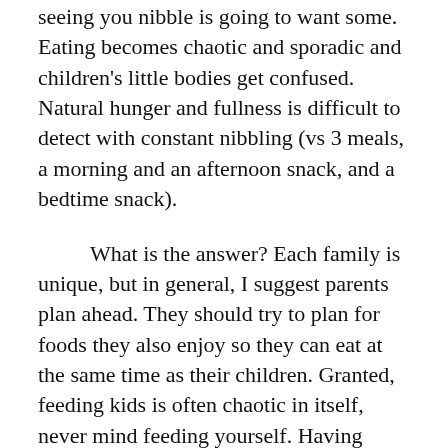seeing you nibble is going to want some. Eating becomes chaotic and sporadic and children's little bodies get confused. Natural hunger and fullness is difficult to detect with constant nibbling (vs 3 meals, a morning and an afternoon snack, and a bedtime snack).
What is the answer? Each family is unique, but in general, I suggest parents plan ahead. They should try to plan for foods they also enjoy so they can eat at the same time as their children. Granted, feeding kids is often chaotic in itself, never mind feeding yourself. Having more than one child myself, feeding three made it more confusing than ever. But I found that the best approach is...